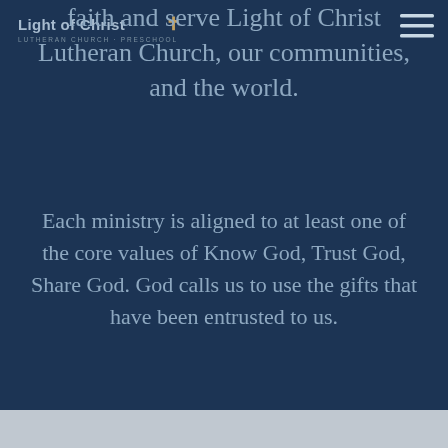[Figure (logo): Light of Christ Lutheran Church Preschool logo with cross icon]
faith and serve Light of Christ Lutheran Church, our communities, and the world.
Each ministry is aligned to at least one of the core values of Know God, Trust God, Share God. God calls us to use the gifts that have been entrusted to us.